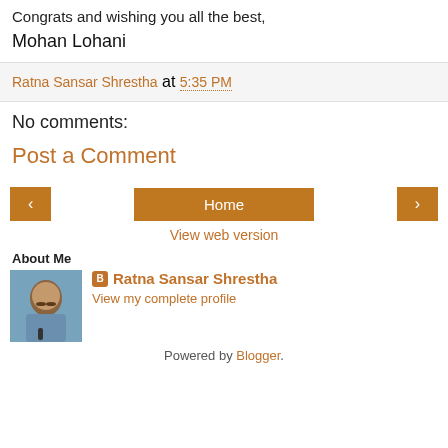Congrats and wishing you all the best,
Mohan Lohani
Ratna Sansar Shrestha at 5:35 PM
No comments:
Post a Comment
Home
View web version
About Me
[Figure (photo): Profile photo of Ratna Sansar Shrestha]
Ratna Sansar Shrestha
View my complete profile
Powered by Blogger.